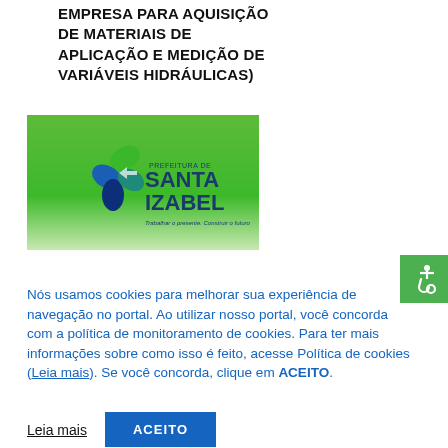EMPRESA PARA AQUISIÇÃO DE MATERIAIS DE APLICAÇÃO E MEDIÇÃO DE VARIÁVEIS HIDRÁULICAS)
[Figure (logo): Logo da Prefeitura de Santa Izabel com fundo verde degradê, símbolo gráfico em azul e verde à esquerda, texto 'PREFEITURA DE SANTA IZABEL' e slogan 'Trabalhar o presente. Construir o futuro']
Nós usamos cookies para melhorar sua experiência de navegação no portal. Ao utilizar nosso portal, você concorda com a política de monitoramento de cookies. Para ter mais informações sobre como isso é feito, acesse Política de cookies (Leia mais). Se você concorda, clique em ACEITO.
Leia mais
ACEITO